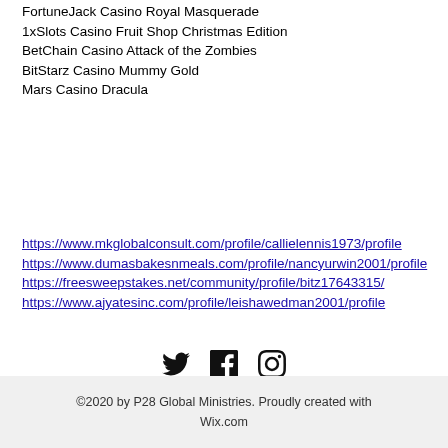FortuneJack Casino Royal Masquerade
1xSlots Casino Fruit Shop Christmas Edition
BetChain Casino Attack of the Zombies
BitStarz Casino Mummy Gold
Mars Casino Dracula
https://www.mkglobalconsult.com/profile/callielennis1973/profile
https://www.dumasbakesnmeals.com/profile/nancyurwin2001/profile
https://freesweepstakes.net/community/profile/bitz17643315/
https://www.ajyatesinc.com/profile/leishawedman2001/profile
[Figure (other): Social media icons: Twitter, Facebook, Instagram]
©2020 by P28 Global Ministries. Proudly created with Wix.com